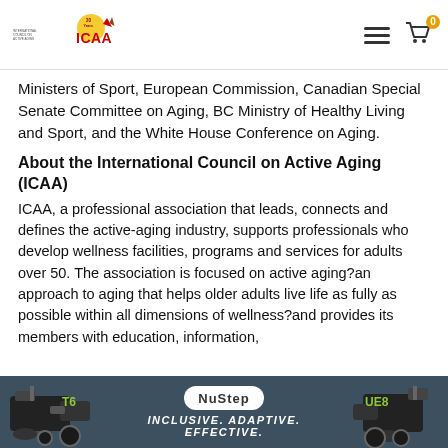ICAA - International Council on Active Aging logo and navigation
Ministers of Sport, European Commission, Canadian Special Senate Committee on Aging, BC Ministry of Healthy Living and Sport, and the White House Conference on Aging.
About the International Council on Active Aging (ICAA)
ICAA, a professional association that leads, connects and defines the active-aging industry, supports professionals who develop wellness facilities, programs and services for adults over 50. The association is focused on active aging?an approach to aging that helps older adults live life as fully as possible within all dimensions of wellness?and provides its members with education, information,
[Figure (advertisement): NuStep advertisement banner with T6 and UE8 equipment images. Dark teal background. NuStep logo in oval, tagline: INCLUSIVE. ADAPTIVE. EFFECTIVE.]